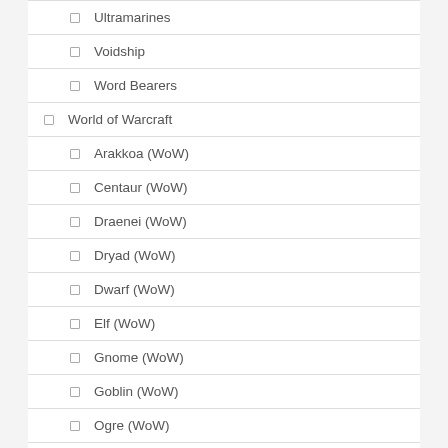Ultramarines
Voidship
Word Bearers
World of Warcraft
Arakkoa (WoW)
Centaur (WoW)
Draenei (WoW)
Dryad (WoW)
Dwarf (WoW)
Elf (WoW)
Gnome (WoW)
Goblin (WoW)
Ogre (WoW)
Orc (WoW)
Pandaren (WoW)